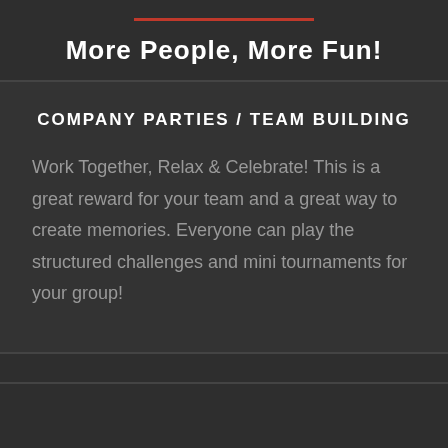More People, More Fun!
COMPANY PARTIES / TEAM BUILDING
Work Together, Relax & Celebrate! This is a great reward for your team and a great way to create memories. Everyone can play the structured challenges and mini tournaments for your group!